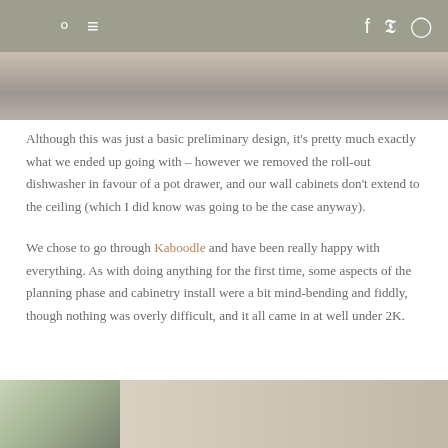navigation header with search, menu, facebook, pinterest, instagram icons
[Figure (photo): Top cropped photo of a kitchen or interior scene with white elements and wood tones]
Although this was just a basic preliminary design, it's pretty much exactly what we ended up going with – however we removed the roll-out dishwasher in favour of a pot drawer, and our wall cabinets don't extend to the ceiling (which I did know was going to be the case anyway).
We chose to go through Kaboodle and have been really happy with everything. As with doing anything for the first time, some aspects of the planning phase and cabinetry install were a bit mind-bending and fiddly, though nothing was overly difficult, and it all came in at well under 2K.
[Figure (photo): Bottom cropped photo showing green foliage through a window and cardboard boxes]